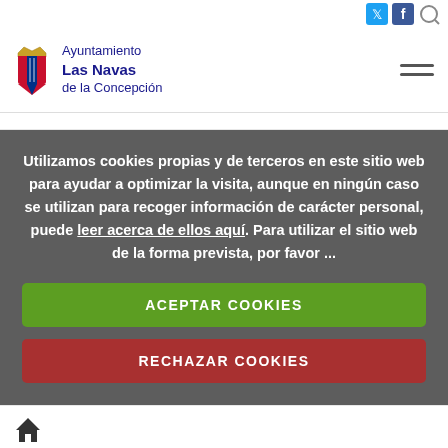Ayuntamiento Las Navas de la Concepción — social icons top bar
[Figure (logo): Ayuntamiento Las Navas de la Concepción logo with shield emblem and text]
Utilizamos cookies propias y de terceros en este sitio web para ayudar a optimizar la visita, aunque en ningún caso se utilizan para recoger información de carácter personal, puede leer acerca de ellos aquí. Para utilizar el sitio web de la forma prevista, por favor ...
ACEPTAR COOKIES
RECHAZAR COOKIES